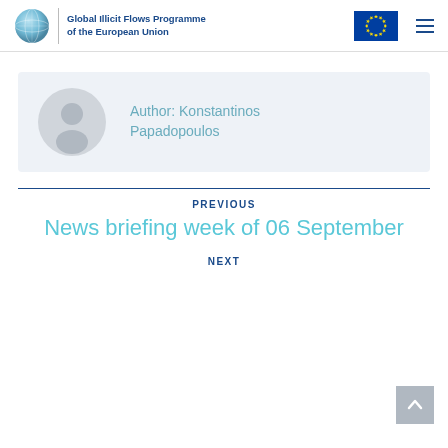Global Illicit Flows Programme of the European Union
[Figure (other): Author profile card with avatar placeholder and text: Author: Konstantinos Papadopoulos]
Author: Konstantinos Papadopoulos
PREVIOUS
News briefing week of 06 September
NEXT